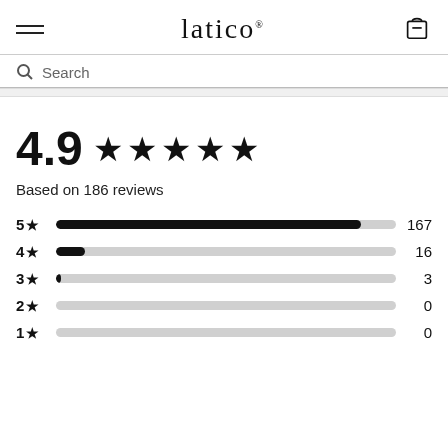latico
Search
[Figure (bar-chart): 4.9 rating based on 186 reviews]
4.9 ★★★★★
Based on 186 reviews